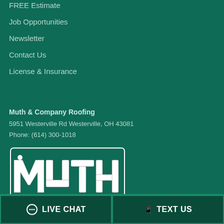FREE Estimate
Job Opportunities
Newsletter
Contact Us
License & Insurance
Muth & Company Roofing
5951 Westerville Rd Westerville, OH 43081
Phone: (614) 300-1018
[Figure (logo): Muth & Company Roofing logo — stylized white block lettering with a roofer figure on the M, on dark green background]
LIVE CHAT
TEXT US